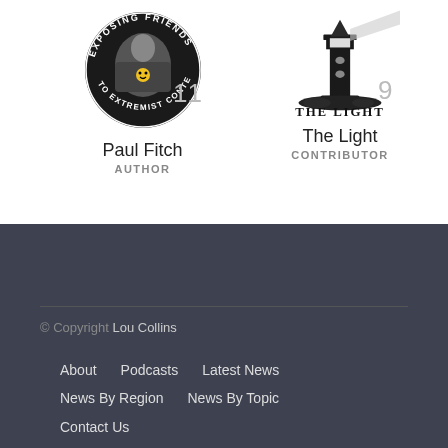[Figure (logo): Paul Fitch author avatar - circular badge with 'Exposing Friends to Extremist Content' text and photo of person]
Paul Fitch
AUTHOR
[Figure (logo): The Light publication logo - lighthouse silhouette with beam, 'THE LIGHT' text]
The Light
CONTRIBUTOR
© Copyright Lou Collins
About    Podcasts    Latest News
News By Region    News By Topic
Contact Us